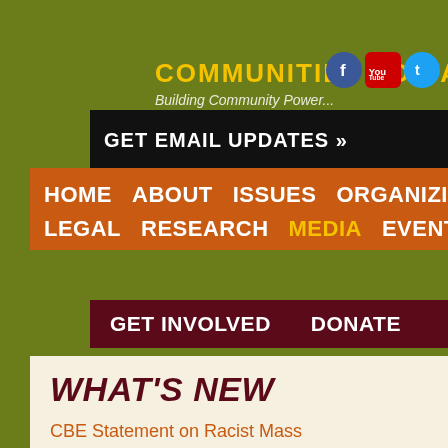COMMUNITIES FOR A BETT...
GET EMAIL UPDATES »
HOME  ABOUT  ISSUES  ORGANIZING  LEGAL  RESEARCH  MEDIA  EVENTS
GET INVOLVED  DONATE
WHAT'S NEW
CBE Statement on Racist Mass